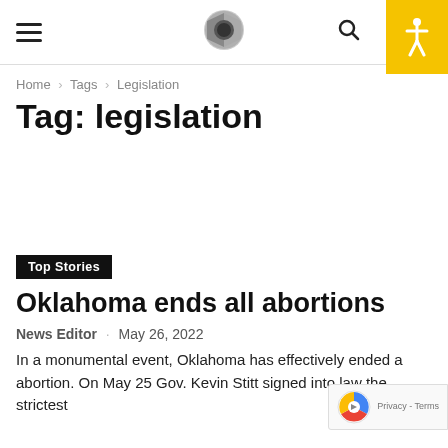Navigation header with hamburger menu, logo, search icon, and accessibility button
Home › Tags › Legislation
Tag: legislation
Top Stories
Oklahoma ends all abortions
News Editor · May 26, 2022
In a monumental event, Oklahoma has effectively ended all abortion. On May 25 Gov. Kevin Stitt signed into law the strictest